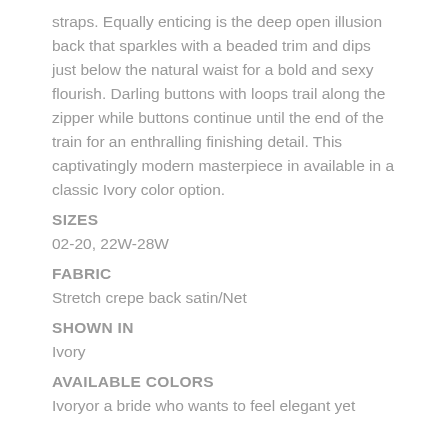straps. Equally enticing is the deep open illusion back that sparkles with a beaded trim and dips just below the natural waist for a bold and sexy flourish. Darling buttons with loops trail along the zipper while buttons continue until the end of the train for an enthralling finishing detail. This captivatingly modern masterpiece in available in a classic Ivory color option.
SIZES
02-20, 22W-28W
FABRIC
Stretch crepe back satin/Net
SHOWN IN
Ivory
AVAILABLE COLORS
Ivoryor a bride who wants to feel elegant yet